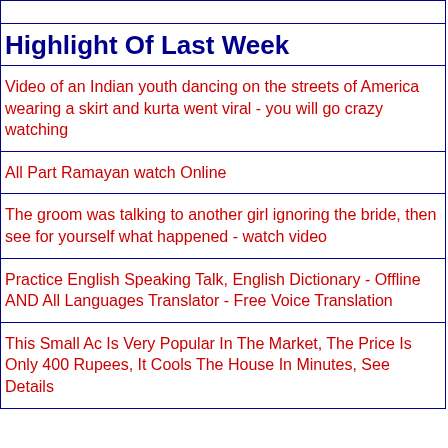Highlight Of Last Week
Video of an Indian youth dancing on the streets of America wearing a skirt and kurta went viral - you will go crazy watching
All Part Ramayan watch Online
The groom was talking to another girl ignoring the bride, then see for yourself what happened - watch video
Practice English Speaking Talk, English Dictionary - Offline AND All Languages Translator - Free Voice Translation
This Small Ac Is Very Popular In The Market, The Price Is Only 400 Rupees, It Cools The House In Minutes, See Details